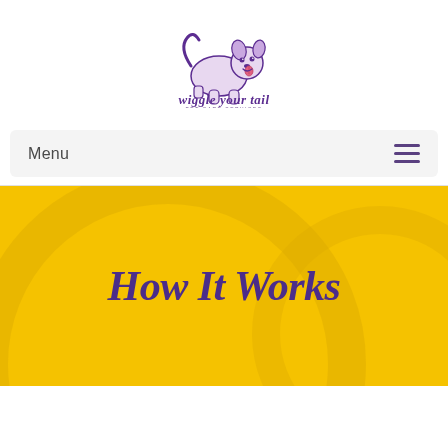[Figure (logo): Wiggle Your Tail pet care services logo with cartoon dog illustration and text 'wiggle your tail PET CARE SERVICES']
Menu
How It Works